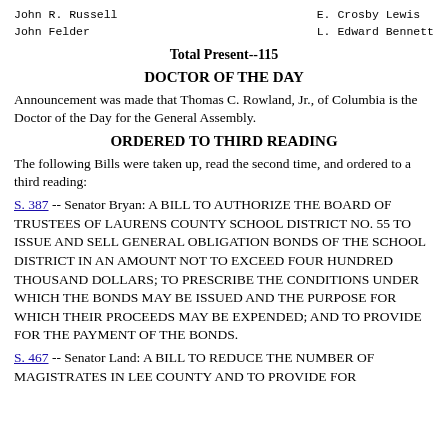John R. Russell
John Felder
E. Crosby Lewis
L. Edward Bennett
Total Present--115
DOCTOR OF THE DAY
Announcement was made that Thomas C. Rowland, Jr., of Columbia is the Doctor of the Day for the General Assembly.
ORDERED TO THIRD READING
The following Bills were taken up, read the second time, and ordered to a third reading:
S. 387 -- Senator Bryan: A BILL TO AUTHORIZE THE BOARD OF TRUSTEES OF LAURENS COUNTY SCHOOL DISTRICT NO. 55 TO ISSUE AND SELL GENERAL OBLIGATION BONDS OF THE SCHOOL DISTRICT IN AN AMOUNT NOT TO EXCEED FOUR HUNDRED THOUSAND DOLLARS; TO PRESCRIBE THE CONDITIONS UNDER WHICH THE BONDS MAY BE ISSUED AND THE PURPOSE FOR WHICH THEIR PROCEEDS MAY BE EXPENDED; AND TO PROVIDE FOR THE PAYMENT OF THE BONDS.
S. 467 -- Senator Land: A BILL TO REDUCE THE NUMBER OF MAGISTRATES IN LEE COUNTY AND TO PROVIDE FOR